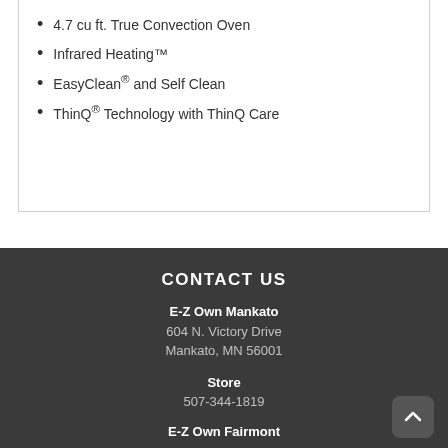4.7 cu ft. True Convection Oven
Infrared Heating™
EasyClean® and Self Clean
ThinQ® Technology with ThinQ Care
CONTACT US
E-Z Own Mankato
604 N. Victory Drive
Mankato, MN 56001
Store
507-344-1819
E-Z Own Fairmont